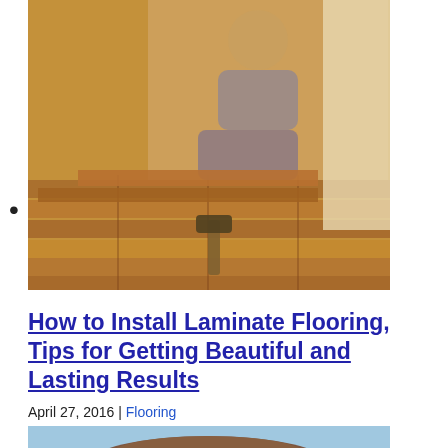•
[Figure (photo): Person installing laminate wood flooring planks, kneeling on partially installed floor with a mallet nearby.]
How to Install Laminate Flooring, Tips for Getting Beautiful and Lasting Results
April 27, 2016 | Flooring
[Figure (photo): Outdoor patio setting with a large brown umbrella, patio table with flowers, chairs, and lush green trees in the background.]